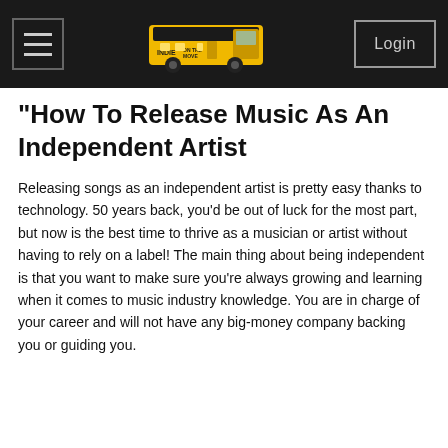Indie On The Move — Login
"How To Release Music As An Independent Artist
Releasing songs as an independent artist is pretty easy thanks to technology. 50 years back, you'd be out of luck for the most part, but now is the best time to thrive as a musician or artist without having to rely on a label! The main thing about being independent is that you want to make sure you're always growing and learning when it comes to music industry knowledge. You are in charge of your career and will not have any big-money company backing you or guiding you.